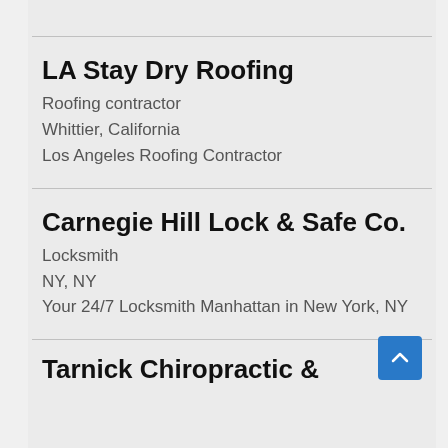LA Stay Dry Roofing
Roofing contractor
Whittier, California
Los Angeles Roofing Contractor
Carnegie Hill Lock & Safe Co.
Locksmith
NY, NY
Your 24/7 Locksmith Manhattan in New York, NY
Tarnick Chiropractic &